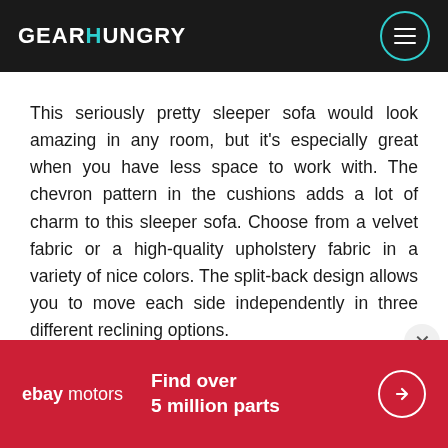GEARHUNGRY
This seriously pretty sleeper sofa would look amazing in any room, but it's especially great when you have less space to work with. The chevron pattern in the cushions adds a lot of charm to this sleeper sofa. Choose from a velvet fabric or a high-quality upholstery fabric in a variety of nice colors. The split-back design allows you to move each side independently in three different reclining options.

The Monjo Chloe futon boasts a foam-filled seat
[Figure (infographic): eBay Motors advertisement banner: red background with 'ebay motors' logo on left, 'Find over 5 million parts' text in center, and a white arrow circle button on the right.]